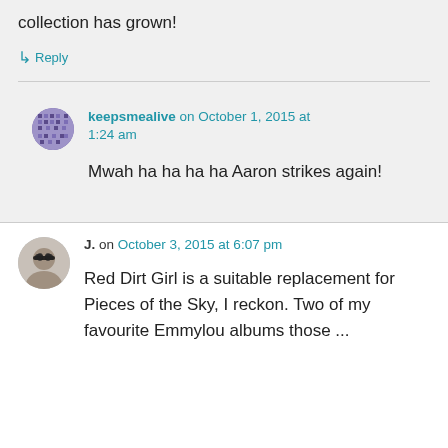collection has grown!
↳ Reply
keepsmealive on October 1, 2015 at 1:24 am
Mwah ha ha ha ha Aaron strikes again!
J. on October 3, 2015 at 6:07 pm
Red Dirt Girl is a suitable replacement for Pieces of the Sky, I reckon. Two of my favourite Emmylou albums those ...